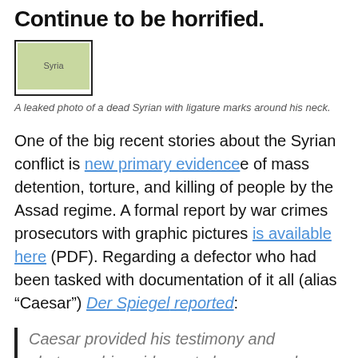Continue to be horrified.
[Figure (photo): Syria flag/image placeholder thumbnail with border]
A leaked photo of a dead Syrian with ligature marks around his neck.
One of the big recent stories about the Syrian conflict is new primary evidence of mass detention, torture, and killing of people by the Assad regime. A formal report by war crimes prosecutors with graphic pictures is available here (PDF). Regarding a defector who had been tasked with documentation of it all (alias “Caesar”) Der Spiegel reported:
Caesar provided his testimony and photographic evidence to lawyers and forensic experts at a British law firm.